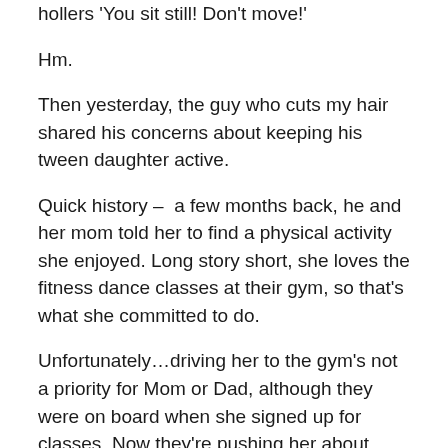hollers 'You sit still! Don't move!'
Hm.
Then yesterday, the guy who cuts my hair shared his concerns about keeping his tween daughter active.
Quick history – a few months back, he and her mom told her to find a physical activity she enjoyed. Long story short, she loves the fitness dance classes at their gym, so that's what she committed to do.
Unfortunately…driving her to the gym's not a priority for Mom or Dad, although they were on board when she signed up for classes. Now they're pushing her about sitting around all the time again.
Hm.
I don't know the answer here – maybe you've got ideas. But I'm pretty sure that what works won't